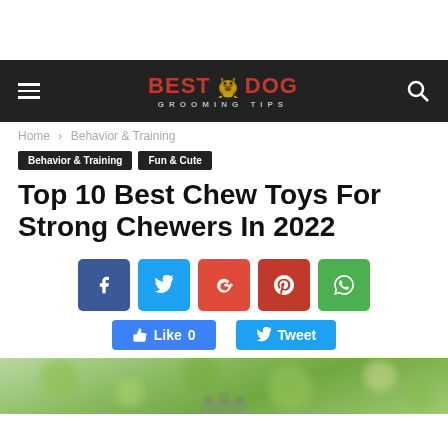BEST DOG GROOMING TIPS
Home › Behavior & Training
Behavior & Training   Fun & Cute
Top 10 Best Chew Toys For Strong Chewers In 2022
[Figure (infographic): Social media share buttons: Facebook, Twitter, Google+, Pinterest, WhatsApp; Like 0 and Tweet buttons]
[Figure (photo): A dog holding or interacting with a chew toy, blurred green bokeh background]